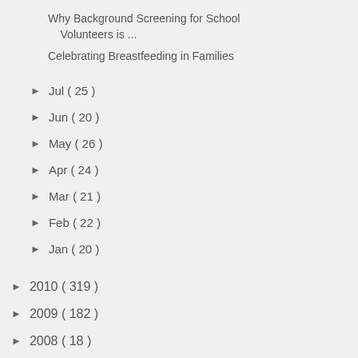Why Background Screening for School Volunteers is ...
Celebrating Breastfeeding in Families
► Jul ( 25 )
► Jun ( 20 )
► May ( 26 )
► Apr ( 24 )
► Mar ( 21 )
► Feb ( 22 )
► Jan ( 20 )
► 2010 ( 319 )
► 2009 ( 182 )
► 2008 ( 18 )